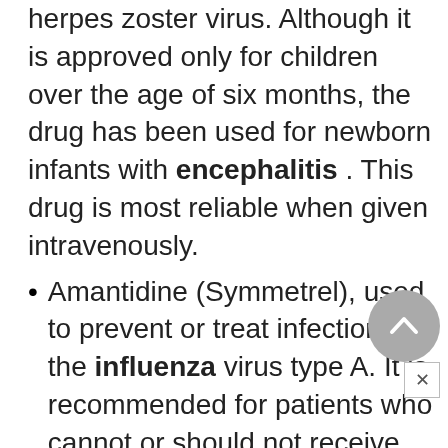herpes zoster virus. Although it is approved only for children over the age of six months, the drug has been used for newborn infants with encephalitis . This drug is most reliable when given intravenously.
Amantidine (Symmetrel), used to prevent or treat infections of the influenza virus type A. It is recommended for patients who cannot or should not receive influenza virus vaccine. As of 2004